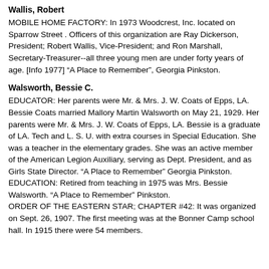Wallis, Robert
MOBILE HOME FACTORY: In 1973 Woodcrest, Inc. located on Sparrow Street . Officers of this organization are Ray Dickerson, President; Robert Wallis, Vice-President; and Ron Marshall, Secretary-Treasurer--all three young men are under forty years of age. [Info 1977] “A Place to Remember”, Georgia Pinkston.
Walsworth, Bessie C.
EDUCATOR: Her parents were Mr. & Mrs. J. W. Coats of Epps, LA. Bessie Coats married Mallory Martin Walsworth on May 21, 1929. Her parents were Mr. & Mrs. J. W. Coats of Epps, LA. Bessie is a graduate of LA. Tech and L. S. U. with extra courses in Special Education. She was a teacher in the elementary grades. She was an active member of the American Legion Auxiliary, serving as Dept. President, and as Girls State Director. “A Place to Remember” Georgia Pinkston.
EDUCATION: Retired from teaching in 1975 was Mrs. Bessie Walsworth. “A Place to Remember” Pinkston.
ORDER OF THE EASTERN STAR; CHAPTER #42: It was organized on Sept. 26, 1907. The first meeting was at the Bonner Camp school hall. In 1915 there were 54 members.